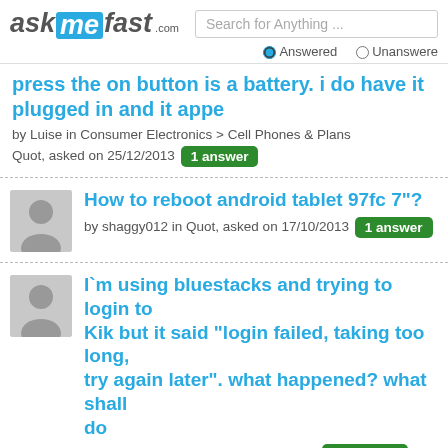askmefast.com — Search for Anything ... Answered / Unanswered
press the on button is a battery. i do have it plugged in and it appe — by Luise in Consumer Electronics > Cell Phones & Plans, Quot, asked on 25/12/2013 — 1 answer
How to reboot android tablet 97fc 7"? — by shaggy012 in Quot, asked on 17/10/2013 — 1 answer
I`m using bluestacks and trying to login to Kik but it said "login failed, taking too long, try again later". what happened? what shall do — by Elvira in Quot, asked on 21/02/2013 — 2 answers
How to enable "google api" on textNow for the Nook tablet? It...